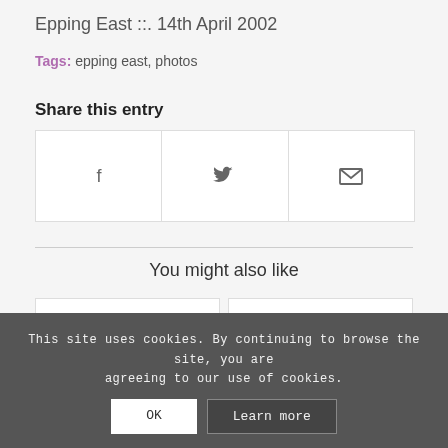Epping East ::. 14th April 2002
Tags: epping east, photos
Share this entry
[Figure (other): Share buttons row with Facebook (f), Twitter (bird icon), and email (envelope icon)]
You might also like
[Figure (other): Two content card placeholders side by side (white boxes with borders)]
This site uses cookies. By continuing to browse the site, you are agreeing to our use of cookies.